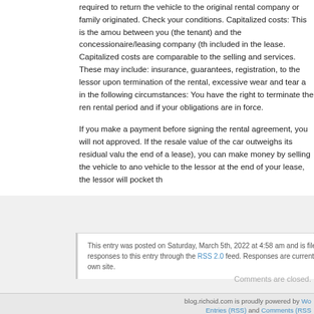required to return the vehicle to the original rental company or family originated. Check your conditions. Capitalized costs: This is the amount between you (the tenant) and the concessionaire/leasing company (the included in the lease. Capitalized costs are comparable to the selling and services. These may include: insurance, guarantees, registration, to the lessor upon termination of the rental, excessive wear and tear a in the following circumstances: You have the right to terminate the rental period and if your obligations are in force.
If you make a payment before signing the rental agreement, you will not approved. If the resale value of the car outweighs its residual value the end of a lease), you can make money by selling the vehicle to another vehicle to the lessor at the end of your lease, the lessor will pocket the
This entry was posted on Saturday, March 5th, 2022 at 4:58 am and is filed... responses to this entry through the RSS 2.0 feed. Responses are currently own site.
Comments are closed.
blog.richoid.com is proudly powered by WordPress. Entries (RSS) and Comments (RSS)